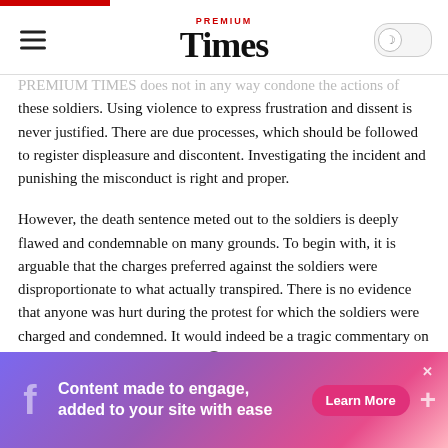PREMIUM Times
PREMIUM TIMES does not in any way condone the actions of these soldiers. Using violence to express frustration and dissent is never justified. There are due processes, which should be followed to register displeasure and discontent. Investigating the incident and punishing the misconduct is right and proper.
However, the death sentence meted out to the soldiers is deeply flawed and condemnable on many grounds. To begin with, it is arguable that the charges preferred against the soldiers were disproportionate to what actually transpired. There is no evidence that anyone was hurt during the protest for which the soldiers were charged and condemned. It would indeed be a tragic commentary on the state of the Nigerian army if many armed soldiers…
[Figure (screenshot): Advertisement banner: Content made to engage, added to your site with ease. Learn More button. Facebook icon and plus sign.]